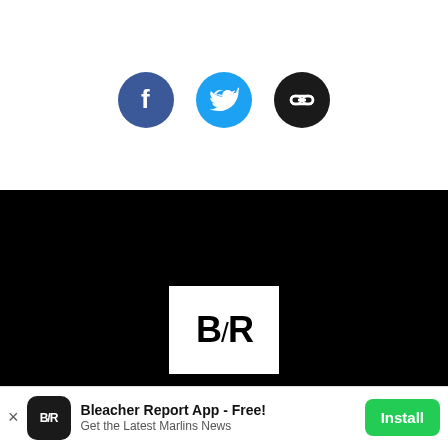[Figure (illustration): Three social sharing icons: Facebook (dark blue circle with 'f'), Twitter (light blue circle with bird icon), and a link/share icon (black circle with chain link)]
[Figure (logo): Bleacher Report logo: white rectangle with 'B/R' in black bold text, on a black background]
[Figure (photo): Progressive Insurance advertisement banner showing a woman and Jon Hamm with speech bubbles: 'Let's get you bundled & saving money!' and 'It's a date!' with 'Get a quote' button]
[Figure (logo): Bleacher Report app install banner at bottom. App icon with B/R logo. Text: 'Bleacher Report App - Free! Get the Latest Marlins News'. Green Install button.]